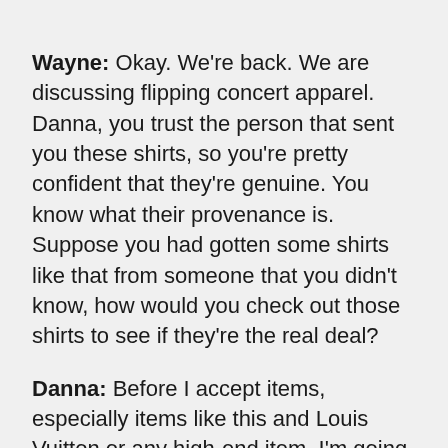Wayne: Okay. We're back. We are discussing flipping concert apparel. Danna, you trust the person that sent you these shirts, so you're pretty confident that they're genuine. You know what their provenance is. Suppose you had gotten some shirts like that from someone that you didn't know, how would you check out those shirts to see if they're the real deal?
Danna: Before I accept items, especially items like this and Louis Vuitton or any high-end item, I'm going to ask for some history from the person. I want to get some history. Now, if I go